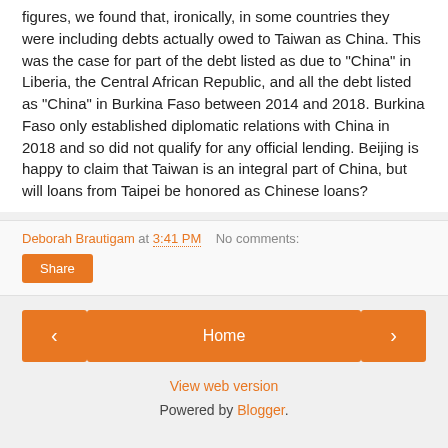figures, we found that, ironically, in some countries they were including debts actually owed to Taiwan as China. This was the case for part of the debt listed as due to "China" in Liberia, the Central African Republic, and all the debt listed as "China" in Burkina Faso between 2014 and 2018. Burkina Faso only established diplomatic relations with China in 2018 and so did not qualify for any official lending. Beijing is happy to claim that Taiwan is an integral part of China, but will loans from Taipei be honored as Chinese loans?
Deborah Brautigam at 3:41 PM   No comments:
Share
< Home >
View web version
Powered by Blogger.